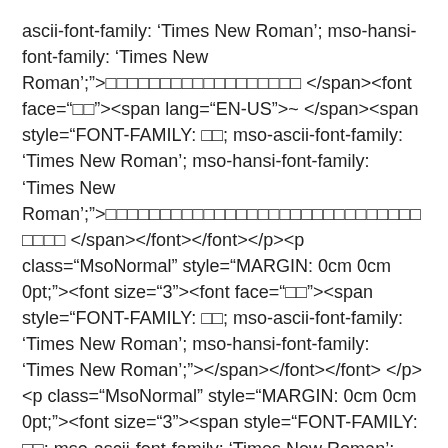ascii-font-family: 'Times New Roman'; mso-hansi-font-family: 'Times New Roman';">□□□□□□□□□□□□□□□□□□ </span><font face="□□"><span lang="EN-US">~ </span><span style="FONT-FAMILY: □□; mso-ascii-font-family: 'Times New Roman'; mso-hansi-font-family: 'Times New Roman';">□□□□□□□□□□□□□□□□□□□□□□□□□□□□□□□□□ </span></font></font></p><p class="MsoNormal" style="MARGIN: 0cm 0cm 0pt;"><font size="3"><font face="□□"><span style="FONT-FAMILY: □□; mso-ascii-font-family: 'Times New Roman'; mso-hansi-font-family: 'Times New Roman';"></span></font></font> </p><p class="MsoNormal" style="MARGIN: 0cm 0cm 0pt;"><font size="3"><span style="FONT-FAMILY: □□; mso-ascii-font-family: 'Times New Roman'; mso-hansi-